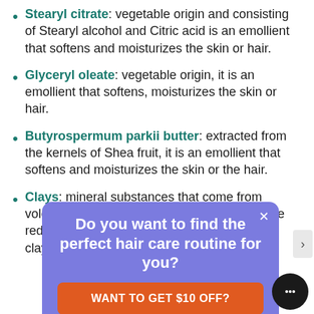Stearyl citrate: vegetable origin and consisting of Stearyl alcohol and Citric acid is an emollient that softens and moisturizes the skin or hair.
Glyceryl oleate: vegetable origin, it is an emollient that softens, moisturizes the skin or hair.
Butyrospermum parkii butter: extracted from the kernels of Shea fruit, it is an emollient that softens and moisturizes the skin or the hair.
Clays: mineral substances that come from volcanic ashes. In shampoos, we prefer to use red, yellow ochre, yellow illite, pink and blue clays,
[Figure (screenshot): Pop-up overlay with purple background containing text 'Do you want to find the perfect hair care routine for you?' and an orange button labeled 'WANT TO GET $10 OFF?']